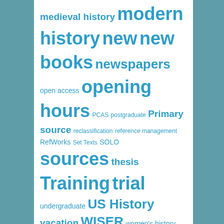medieval history modern history new new books newspapers open access opening hours PCAS postgraduate Primary source reclassification reference management RefWorks Set Texts SOLO sources thesis Training trial undergraduate US History vacation WISER women's history
ARCHIVES
Select Month
USEFUL WEBSITES FOR HISTORIANS
African Letters Project
Library - Diigo